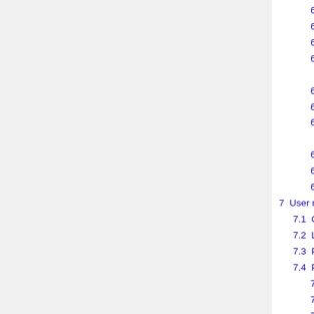6.4.8  Java, C#, .NET, Mono
6.4.9  Other languages
6.4.10  BioXSD quick overview guide
6.4.11  Software Meta Data in debian/upstream
6.4.12  Advanced Challenge
6.4.13  Hints and Tips
6.4.14  Web service libraries/frameworks
6.4.15  WSDL 1.1 and SOAP
6.4.16  WSDL 2.0 and REST
6.4.17  Challenge Presentation
7  User management / directory services
7.1  Questions
7.2  Links for preparation
7.3  Presentation
7.4  Programming Challenge
7.4.1  Hints and Tips
7.4.2  Markus' hints and tips
7.4.3  Advanced Challenge
7.4.4  Challenge Presentation
8  Web server